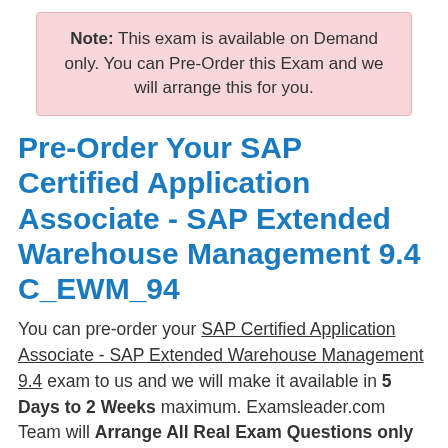Note: This exam is available on Demand only. You can Pre-Order this Exam and we will arrange this for you.
Pre-Order Your SAP Certified Application Associate - SAP Extended Warehouse Management 9.4 C_EWM_94
You can pre-order your SAP Certified Application Associate - SAP Extended Warehouse Management 9.4 exam to us and we will make it available in 5 Days to 2 Weeks maximum. Examsleader.com Team will Arrange All Real Exam Questions only from Real Exam within next 5 Days to